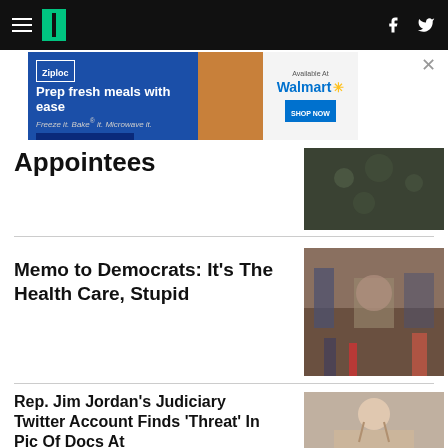HuffPost navigation
[Figure (other): Advertisement banner for Ziploc bags at Walmart: 'Prep fresh meals with ease. Freeze it. Bake it. Microwave it. NEW ENDURABLES']
Appointees
Memo to Democrats: It's The Health Care, Stupid
Rep. Jim Jordan's Judiciary Twitter Account Finds 'Threat' In Pic Of Docs At